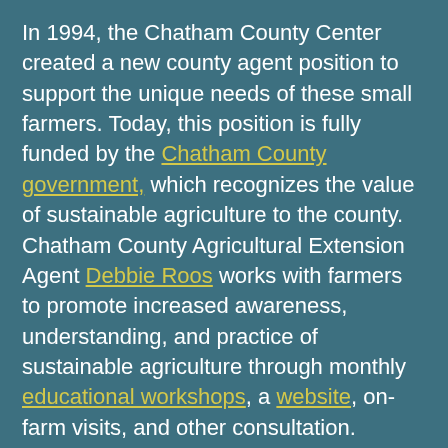In 1994, the Chatham County Center created a new county agent position to support the unique needs of these small farmers. Today, this position is fully funded by the Chatham County government, which recognizes the value of sustainable agriculture to the county. Chatham County Agricultural Extension Agent Debbie Roos works with farmers to promote increased awareness, understanding, and practice of sustainable agriculture through monthly educational workshops, a website, on-farm visits, and other consultation.
Roos developed the Growing Small Farms website in 2002 after a survey revealed that approximately 95% of local farmers regularly used the Internet. The site has since grown to over 500 pages and receives over 25,000